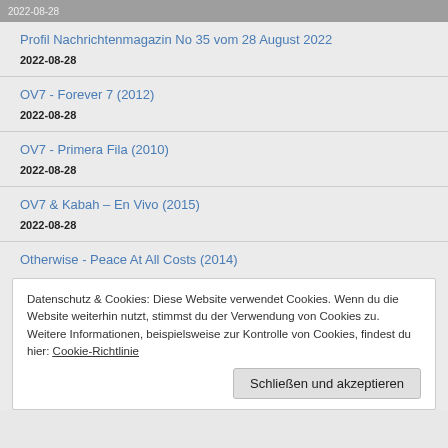2022-08-28
Profil Nachrichtenmagazin No 35 vom 28 August 2022
2022-08-28
OV7 - Forever 7 (2012)
2022-08-28
OV7 - Primera Fila (2010)
2022-08-28
OV7 & Kabah – En Vivo (2015)
2022-08-28
Otherwise - Peace At All Costs (2014)
Datenschutz & Cookies: Diese Website verwendet Cookies. Wenn du die Website weiterhin nutzt, stimmst du der Verwendung von Cookies zu. Weitere Informationen, beispielsweise zur Kontrolle von Cookies, findest du hier: Cookie-Richtlinie
Schließen und akzeptieren